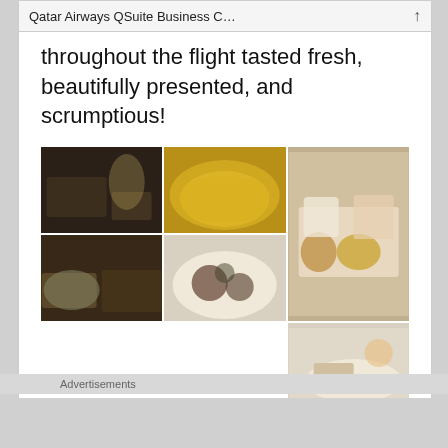Qatar Airways QSuite Business C…
throughout the flight tasted fresh, beautifully presented, and scrumptious!
[Figure (photo): Grid of 8 food photos from Qatar Airways QSuite Business Class showing various meals including rice dishes, meat dishes, bread rolls, soups, and breakfast trays]
Advertisements
Getting your team on the
Advertisements